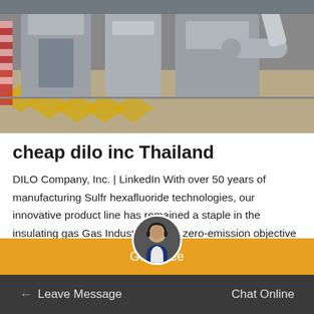[Figure (photo): Industrial machinery/equipment photo showing large grey cylindrical machines on a factory floor with yellow safety markings on the ground]
cheap dilo inc Thailand
DILO Company, Inc. | LinkedIn With over 50 years of manufacturing Sulfr hexafluoride technologies, our innovative product line has remained a staple in the insulating gas Gas Industry. DILOs zero-emission objective